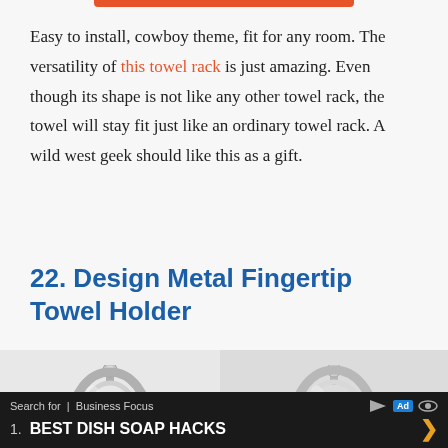Easy to install, cowboy theme, fit for any room. The versatility of this towel rack is just amazing. Even though its shape is not like any other towel rack, the towel will stay fit just like an ordinary towel rack. A wild west geek should like this as a gift.
22. Design Metal Fingertip Towel Holder
[Figure (photo): Two photos of a chrome/metal fingertip towel holder ring, shown side by side. The holder has an ornate ring shape with a decorative finial at the top.]
Search for | Business Focus  [Ad]  1. BEST DISH SOAP HACKS